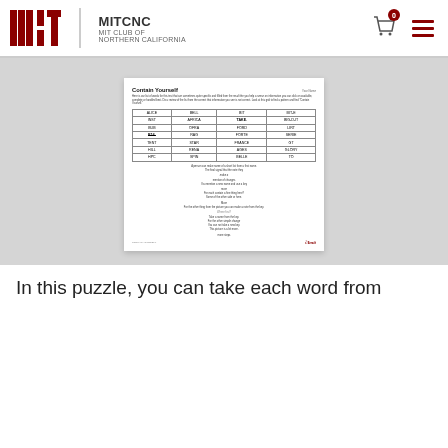MITCNC MIT CLUB OF NORTHERN CALIFORNIA
[Figure (screenshot): Document preview showing 'Contain Yourself' puzzle page with a table of words and body text]
In this puzzle, you can take each word from